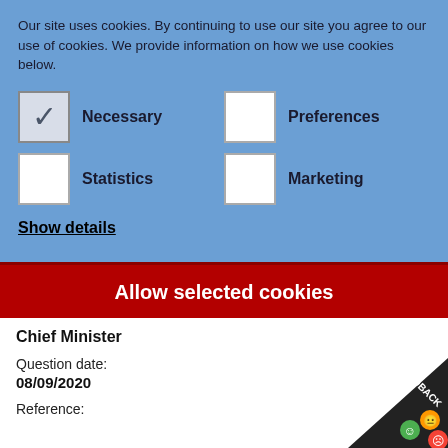Our site uses cookies. By continuing to use our site you agree to our use of cookies. We provide information on how we use cookies below.
Necessary (checked)
Preferences (unchecked)
Statistics (unchecked)
Marketing (unchecked)
Show details
Allow selected cookies
Chief Minister
Question date:
08/09/2020
Reference: